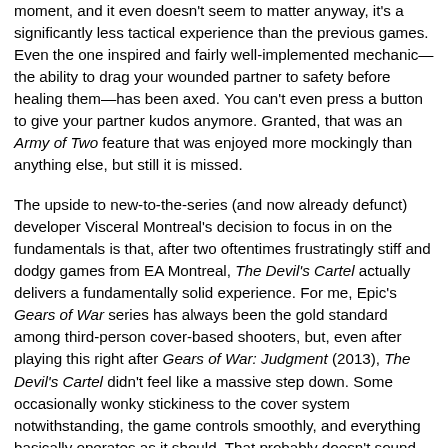moment, and it even doesn't seem to matter anyway, it's a significantly less tactical experience than the previous games. Even the one inspired and fairly well-implemented mechanic—the ability to drag your wounded partner to safety before healing them—has been axed. You can't even press a button to give your partner kudos anymore. Granted, that was an Army of Two feature that was enjoyed more mockingly than anything else, but still it is missed.
The upside to new-to-the-series (and now already defunct) developer Visceral Montreal's decision to focus in on the fundamentals is that, after two oftentimes frustratingly stiff and dodgy games from EA Montreal, The Devil's Cartel actually delivers a fundamentally solid experience. For me, Epic's Gears of War series has always been the gold standard among third-person cover-based shooters, but, even after playing this right after Gears of War: Judgment (2013), The Devil's Cartel didn't feel like a massive step down. Some occasionally wonky stickiness to the cover system notwithstanding, the game controls smoothly, and everything basically operates as it should. That probably doesn't sound too glowing—"operates as it should" should more likely be the bare minimum requirement for a game